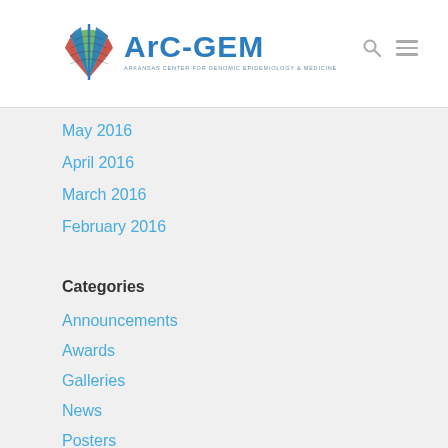ArC-GEM — Arkansas Center for Genomic Epidemiology & Medicine
May 2016
April 2016
March 2016
February 2016
Categories
Announcements
Awards
Galleries
News
Posters